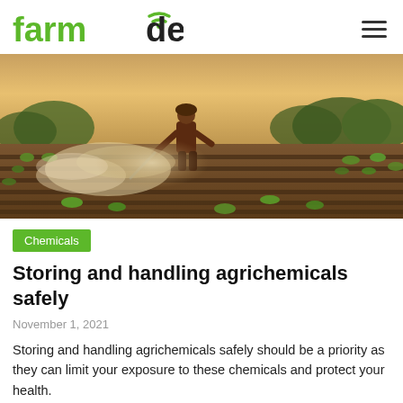farmdeck
[Figure (photo): A farmer spraying pesticides on a crop field at golden hour, seen from behind, with mist visible and green seedlings in rows]
Chemicals
Storing and handling agrichemicals safely
November 1, 2021
Storing and handling agrichemicals safely should be a priority as they can limit your exposure to these chemicals and protect your health.